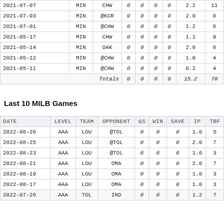| DATE | TEAM | OPPONENT | GS | WIN | SAVE | IP | TBF |
| --- | --- | --- | --- | --- | --- | --- | --- |
| 2021-07-07 | MIN | CHW | 0 | 0 | 0 | 0 | 2.2 | 11 |
| 2021-07-03 | MIN | @KCR | 0 | 0 | 0 | 0 | 2.0 | 8 |
| 2021-07-01 | MIN | @CHW | 0 | 0 | 0 | 0 | 1.2 | 6 |
| 2021-05-17 | MIN | CHW | 0 | 0 | 0 | 0 | 1.1 | 9 |
| 2021-05-14 | MIN | OAK | 0 | 0 | 0 | 0 | 2.0 | 8 |
| 2021-05-12 | MIN | @CHW | 0 | 0 | 0 | 0 | 1.0 | 4 |
| 2021-05-11 | MIN | @CHW | 0 | 0 | 0 | 0 | 0.2 | 4 |
| Totals |  |  | 0 | 0 | 0 | 0 | 15.2 | 70 |
Last 10 MILB Games
| DATE | LEVEL | TEAM | OPPONENT | GS | WIN | SAVE | IP | TBF |
| --- | --- | --- | --- | --- | --- | --- | --- | --- |
| 2022-08-26 | AAA | LOU | @TOL | 0 | 0 | 0 | 1.0 | 5 |
| 2022-08-25 | AAA | LOU | @TOL | 0 | 0 | 0 | 2.0 | 7 |
| 2022-08-23 | AAA | LOU | @TOL | 0 | 0 | 0 | 1.0 | 3 |
| 2022-08-21 | AAA | LOU | OMA | 0 | 0 | 0 | 2.0 | 7 |
| 2022-08-19 | AAA | LOU | OMA | 0 | 0 | 0 | 1.0 | 3 |
| 2022-08-17 | AAA | LOU | OMA | 0 | 0 | 0 | 1.0 | 3 |
| 2022-07-26 | AAA | TOL | IND | 0 | 0 | 0 | 1.2 | 7 |